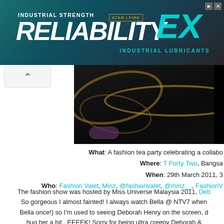[Figure (screenshot): Advertisement banner for Starfire EX Industrial Lubricants with text INDUSTRIAL STRENGTH RELIABILITY on dark teal background]
[Figure (photo): Gold jewelry chains on dark background, partially visible]
What: A fashion tea party celebrating a collabo...
Where: T Forty Two, Bangsa...
When: 29th March 2011, 3...
Who: Fashion Valet, Minz, @fashionvalet, @minz__, FashionV...
The fashion show was hosted by Miss Universe Malaysia 2011, Deb... So gorgeous I almost fainted! I always watch Bella @ NTV7 when... Bella once!) so I'm used to seeing Deborah Henry on the screen, d... hug her a bit.. EEEEK! Sorry for being ultra creepy Deborah &...
[Figure (photo): Fashion Valet and Minz branded signage/banner display at event venue]